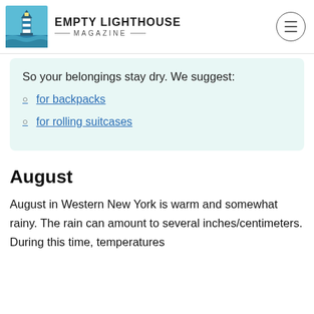EMPTY LIGHTHOUSE MAGAZINE
So your belongings stay dry. We suggest:
for backpacks
for rolling suitcases
August
August in Western New York is warm and somewhat rainy. The rain can amount to several inches/centimeters. During this time, temperatures